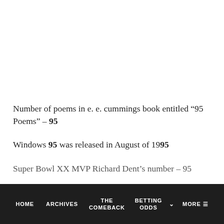Number of poems in e. e. cummings book entitled “95 Poems” – 95
Windows 95 was released in August of 1995
Super Bowl XX MVP Richard Dent’s number – 95
HOME  ARCHIVES  THE COMEBACK  BETTING ODDS  MORE